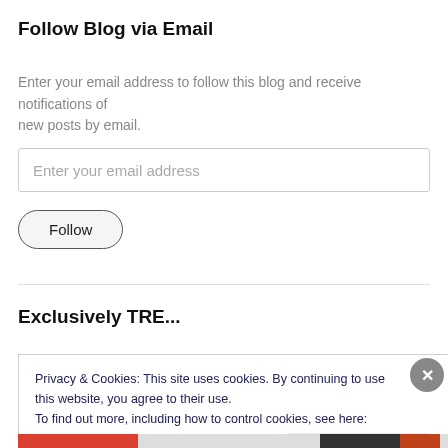Follow Blog via Email
Enter your email address to follow this blog and receive notifications of new posts by email.
Enter your email address
Follow
Exclusively TRE...
Privacy & Cookies: This site uses cookies. By continuing to use this website, you agree to their use.
To find out more, including how to control cookies, see here: Cookie Policy
Close and accept